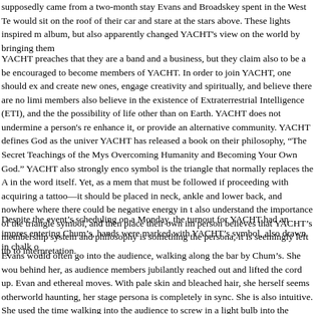supposedly came from a two-month stay Evans and Broadskey spent in the West Te would sit on the roof of their car and stare at the stars above. These lights inspired m album, but also apparently changed YACHT's view on the world by bringing them
YACHT preaches that they are a band and a business, but they claim also to be a be encouraged to become members of YACHT. In order to join YACHT, one should ex and create new ones, engage creativity and spiritually, and believe there are no limi members also believe in the existence of Extraterrestrial Intelligence (ETI), and the the possibility of life other than on Earth. YACHT does not undermine a person's re enhance it, or provide an alternative community. YACHT defines God as the univer YACHT has released a book on their philosophy, "The Secret Teachings of the Mys Overcoming Humanity and Becoming Your Own God." YACHT also strongly enco symbol is the triangle that normally replaces the A in the word itself. Yet, as a mem that must be followed if proceeding with acquiring a tattoo—it should be placed in neck, ankle and lower back, and nowhere where there could be negative energy in t also understand the importance of the triangle symbol, and then place their own im person believes that YACHT's membership system and philosophy is something the persona, it is seemingly left up to interpretation.
Despite the event's scheduling on a Monday, the turnout for YACHT had an impres entering Chum's, hands were marked with YACHT's symbol, also drawn in chalk o
Evans would often go into the audience, walking along the bar by Chum's. She wou behind her, as audience members jubilantly reached out and lifted the cord up. Evan and ethereal moves. With pale skin and bleached hair, she herself seems otherworld haunting, her stage persona is completely in sync. She is also intuitive. She used the time walking into the audience to screw in a light bulb into the socket in the middl